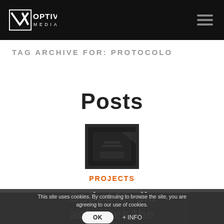Optiva Media — Navigation header with logo and hamburger menu
Tag Archive for: protocolo
Posts
[Figure (photo): Dark thumbnail image of a black leather-covered item]
PROJECTS
Optiva Media achieves the Aragonterix
This site uses cookies. By continuing to browse the site, you are agreeing to our use of cookies.
OK
+ INFO